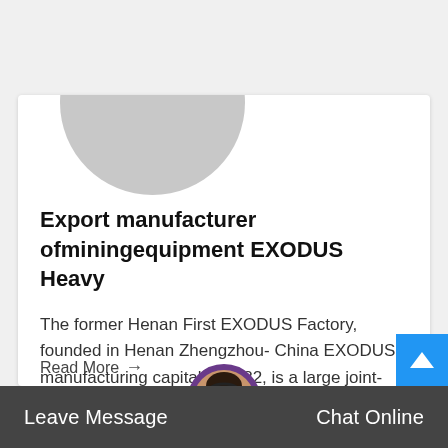[Figure (photo): Gray circular avatar/logo placeholder image]
Export manufacturer ofminingequipment EXODUS Heavy
The former Henan First EXODUS Factory, founded in Henan Zhengzhou- China EXODUS manufacturing capital in 1982, is a large joint-stoc
Read More →
[Figure (photo): Customer service agent avatar with headset]
Leave Message    Chat Online